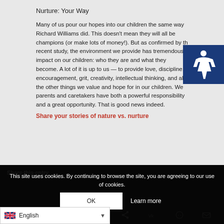Nurture: Your Way
Many of us pour our hopes into our children the same way Richard Williams did. This doesn't mean they will all be champions (or make lots of money!). But as confirmed by th recent study, the environment we provide has tremendous impact on our children: who they are and what they become. A lot of it is up to us — to provide love, discipline, encouragement, grit, creativity, intellectual thinking, and all the other things we value and hope for in our children. We parents and caretakers have both a powerful responsibility and a great opportunity. That is good news indeed.
Share your stories of nature vs. nurture
Share this entry
This site uses cookies. By continuing to browse the site, you are agreeing to our use of cookies.
English